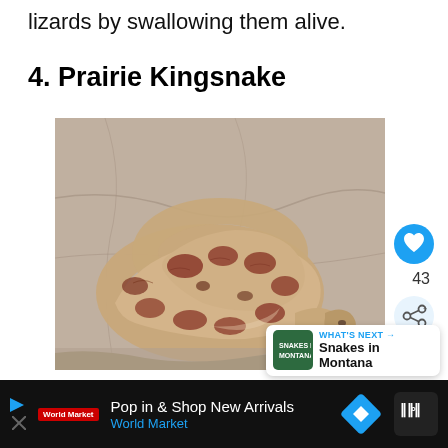lizards by swallowing them alive.
4. Prairie Kingsnake
[Figure (photo): Close-up photograph of a Prairie Kingsnake coiled on rocky surface, showing brown and reddish-brown blotched pattern on gray-tan background]
Pop in & Shop New Arrivals World Market [advertisement]